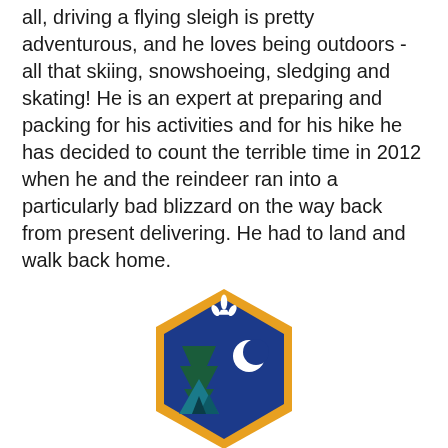all, driving a flying sleigh is pretty adventurous, and he loves being outdoors - all that skiing, snowshoeing, sledging and skating! He is an expert at preparing and packing for his activities and for his hike he has decided to count the terrible time in 2012 when he and the reindeer ran into a particularly bad blizzard on the way back from present delivering. He had to land and walk back home.
[Figure (illustration): A Scout/outdoors badge in hexagon shape with gold border, dark blue background, featuring a fleur-de-lis at the top, a crescent moon, a dark green tree, and a teal tent silhouette.]
Outdoors was mostly easy. It has to be said that Santa is a big fan of his cosy Christmas house, and he likes to come home to a roaring fire at the end of the day, but when he needs new